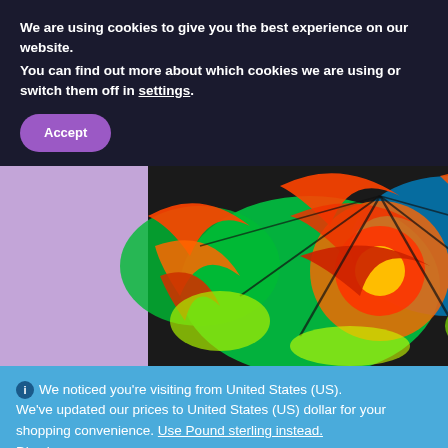We are using cookies to give you the best experience on our website.
You can find out more about which cookies we are using or switch them off in settings.
Accept
[Figure (photo): Colorful psychedelic stained-glass style artwork featuring tropical leaf/plant patterns in neon green, orange, red, blue and yellow on a light purple background]
We noticed you're visiting from United States (US). We've updated our prices to United States (US) dollar for your shopping convenience. Use Pound sterling instead. Dismiss
[Figure (infographic): Bottom navigation bar with person icon, search/magnifying glass icon, and shopping basket icon with badge showing 0]